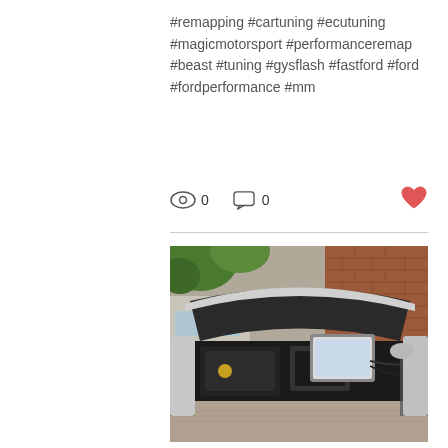#remapping #cartuning #ecutuning #magicmotorsport #performanceremap #beast #tuning #gysflash #fastford #ford #fordperformance #mm
0   0   ♥
[Figure (photo): Silver car with hood open showing engine bay, with a diagnostic tablet placed on top. Background shows brick house and residential driveway.]